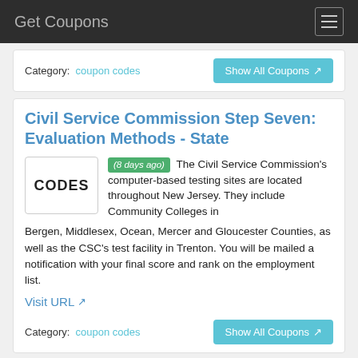Get Coupons
Category:  coupon codes
Show All Coupons
Civil Service Commission Step Seven: Evaluation Methods - State
(8 days ago) The Civil Service Commission's computer-based testing sites are located throughout New Jersey. They include Community Colleges in Bergen, Middlesex, Ocean, Mercer and Gloucester Counties, as well as the CSC's test facility in Trenton. You will be mailed a notification with your final score and rank on the employment list.
Visit URL
Category:  coupon codes
Show All Coupons